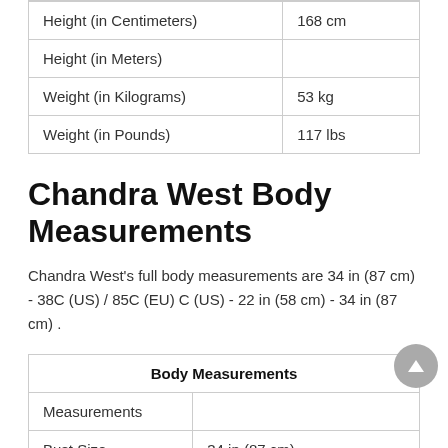| Height (in Centimeters) | 168 cm |
| Height (in Meters) |  |
| Weight (in Kilograms) | 53 kg |
| Weight (in Pounds) | 117 lbs |
Chandra West Body Measurements
Chandra West's full body measurements are 34 in (87 cm) - 38C (US) / 85C (EU) C (US) - 22 in (58 cm) - 34 in (87 cm) .
| Body Measurements |
| --- |
| Measurements |  |
| Bust Size | 34 in (87 cm) |